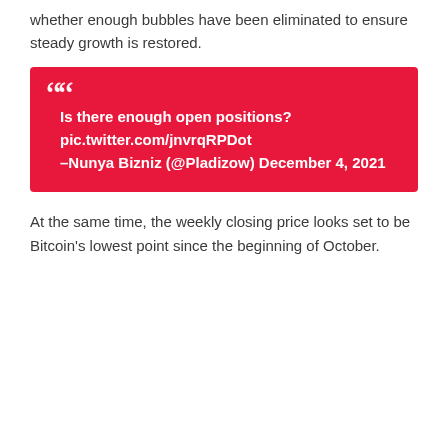whether enough bubbles have been eliminated to ensure steady growth is restored.
Is there enough open positions? pic.twitter.com/jnvrqRPDot –Nunya Bizniz (@Pladizow) December 4, 2021
At the same time, the weekly closing price looks set to be Bitcoin's lowest point since the beginning of October.